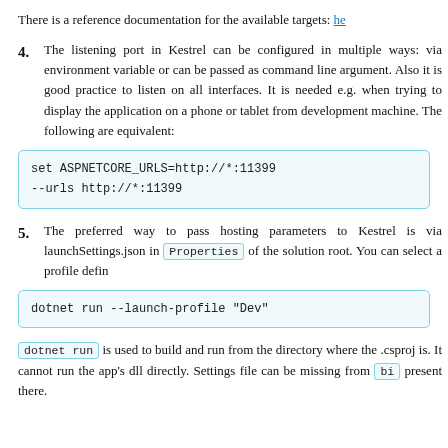There is a reference documentation for the available targets: he
4. The listening port in Kestrel can be configured in multiple ways: via environment variable or can be passed as command line argument. Also it is good practice to listen on all interfaces. It is needed e.g. when trying to display the application on a phone or tablet from development machine. The following are equivalent:
set ASPNETCORE_URLS=http://*:11399
--urls http://*:11399
5. The preferred way to pass hosting parameters to Kestrel is via launchSettings.json in Properties of the solution root. You can select a profile defin
dotnet run --launch-profile "Dev"
dotnet run is used to build and run from the directory where the .csproj is. It cannot run the app's dll directly. Settings file can be missing from bi present there.